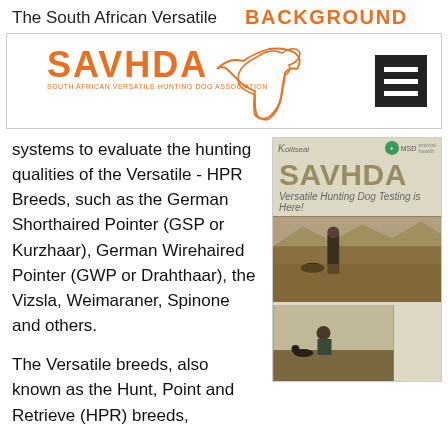The South African Versatile   BACKGROUND
[Figure (logo): SAVHDA logo — South African Versatile Hunting Dog Association — orange dog silhouette with text, on white background with border]
systems to evaluate the hunting qualities of the Versatile - HPR Breeds, such as the German Shorthaired Pointer (GSP or Kurzhaar), German Wirehaired Pointer (GWP or Drahthaar), the Vizsla, Weimaraner,  Spinone and others.
[Figure (screenshot): SAVHDA magazine/brochure screenshot showing the SAVHDA logo, subtitle 'Versatile Hunting Dog Testing is Here!', and two photos of hunters with dogs in field]
The Versatile breeds, also known as the Hunt, Point and Retrieve (HPR) breeds,